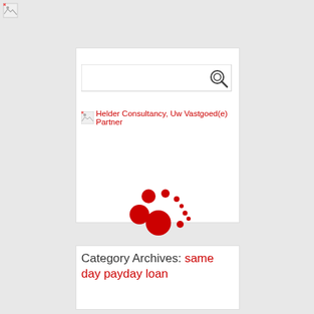[Figure (screenshot): Broken image icon in top-left corner of page]
[Figure (screenshot): Search input box with magnifying glass icon]
Helder Consultancy, Uw Vastgoed(e) Partner
[Figure (illustration): Red loading animation dots/circles of varying sizes arranged in a circular pattern]
Category Archives: same day payday loan